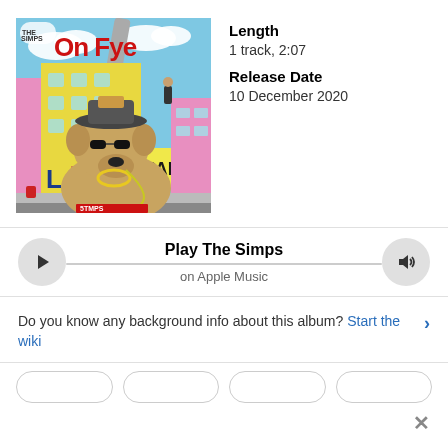[Figure (illustration): Album cover for 'On Fye' by The Simps. Cartoon illustration showing a large golden dog wearing sunglasses and a fire chief hat, holding a microphone, standing in front of a colorful urban street scene with yellow and pink buildings, 'LA' written on the sidewalk, clouds in background. Red bold text reads 'On Fye' at the top. Small logo in top left corner reads 'The Simps'. Bottom reads '5TMPS' in a red box.]
Length
1 track, 2:07
Release Date
10 December 2020
Play The Simps on Apple Music
Do you know any background info about this album? Start the wiki